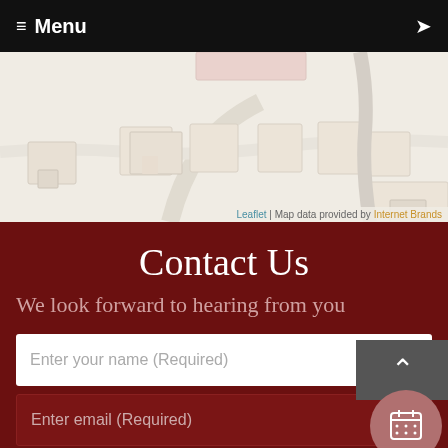≡ Menu
[Figure (map): Aerial/floor-plan style map showing building footprints on a beige background with road outlines. Caption reads: Leaflet | Map data provided by Internet Brands]
Leaflet | Map data provided by Internet Brands
Contact Us
We look forward to hearing from you
Enter your name (Required)
Enter email (Required)